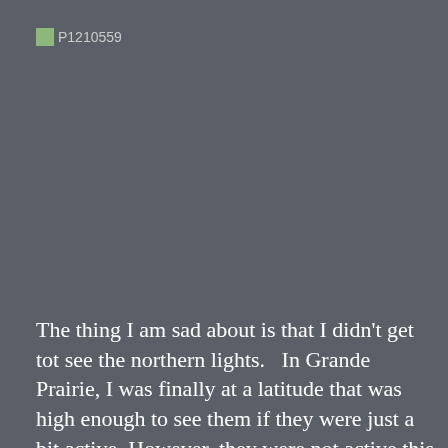[Figure (photo): A broken image placeholder labeled P1210559 on a dark gray background]
The thing I am sad about is that I didn't get tot see the northern lights.   In Grande Prairie, I was finally at a latitude that was high enough to see them if they were just a bit active.  However, they were not active this week.